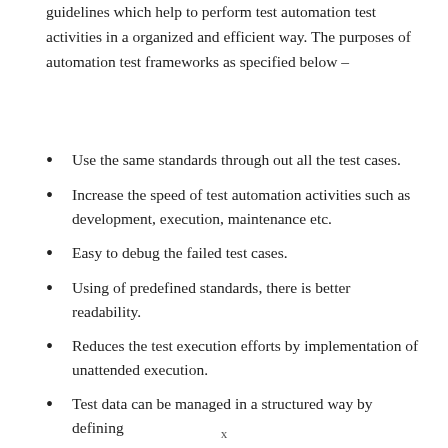guidelines which help to perform test automation test activities in a organized and efficient way. The purposes of automation test frameworks as specified below –
Use the same standards through out all the test cases.
Increase the speed of test automation activities such as development, execution, maintenance etc.
Easy to debug the failed test cases.
Using of predefined standards, there is better readability.
Reduces the test execution efforts by implementation of unattended execution.
Test data can be managed in a structured way by defining
x